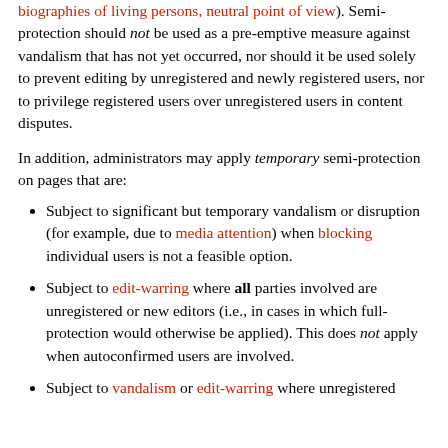biographies of living persons, neutral point of view). Semi-protection should not be used as a pre-emptive measure against vandalism that has not yet occurred, nor should it be used solely to prevent editing by unregistered and newly registered users, nor to privilege registered users over unregistered users in content disputes.
In addition, administrators may apply temporary semi-protection on pages that are:
Subject to significant but temporary vandalism or disruption (for example, due to media attention) when blocking individual users is not a feasible option.
Subject to edit-warring where all parties involved are unregistered or new editors (i.e., in cases in which full-protection would otherwise be applied). This does not apply when autoconfirmed users are involved.
Subject to vandalism or edit-warring where unregistered...